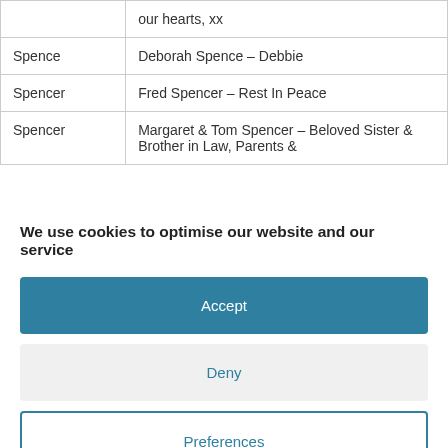|  | our hearts,  xx |
| Spence | Deborah Spence – Debbie |
| Spencer | Fred Spencer – Rest In Peace |
| Spencer | Margaret & Tom Spencer – Beloved Sister & Brother in Law, Parents & |
We use cookies to optimise our website and our service
Accept
Deny
Preferences
Cookie Policy  Privacy Policy